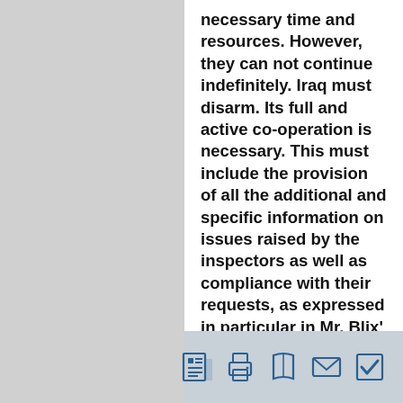necessary time and resources. However, they can not continue indefinitely. Iraq must disarm. Its full and active co-operation is necessary. This must include the provision of all the additional and specific information on issues raised by the inspectors as well as compliance with their requests, as expressed in particular in Mr. Blix' letter of February 21st 2003. The combination of a clear program of action, reinforced inspections, a clear timeline and the military build-up provide a realistic means to reunite the Security Council and to exert maximum pressure on Iraq.
[Figure (infographic): Footer bar with five icons: newspaper/document, printer, book, envelope, checkbox]